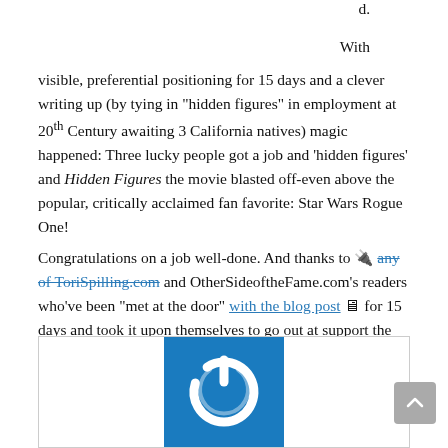d.
With visible, preferential positioning for 15 days and a clever writing up (by tying in "hidden figures" in employment at 20th Century awaiting 3 California natives) magic happened: Three lucky people got a job and 'hidden figures' and Hidden Figures the movie blasted off-even above the popular, critically acclaimed fan favorite: Star Wars Rogue One!
Congratulations on a job well-done. And thanks to 🔌 any of ToriSpilling.com and OtherSideoftheFame.com's readers who've been "met at the door" with the blog post 🗒 for 15 days and took it upon themselves to go out at support the film!
Read more on this from our friends at 🔌 The Hollywood Reporter!
[Figure (logo): Blue square logo with white power button / circular arrow icon]